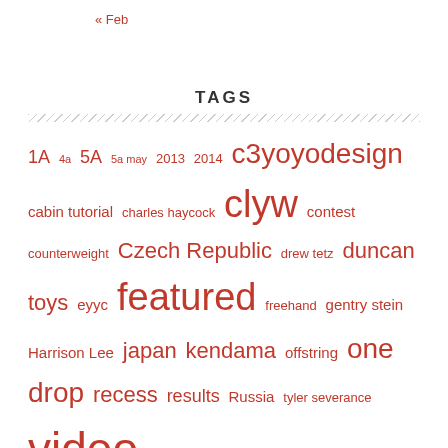« Feb
TAGS
1A 4a 5A 5a may 2013 2014 c3yoyodesign cabin tutorial charles haycock clyw contest counterweight Czech Republic drew tetz duncan toys eyyc featured freehand gentry stein Harrison Lee japan kendama offstring one drop recess results Russia tyler severance video Werrd world yoyo champion world yoyo contest yoyo yoyo contest yoyo contest results yoyodrop yoyo drop yoyoexpert yoyofactory yoyofficer YoYoJam yoyorecreation